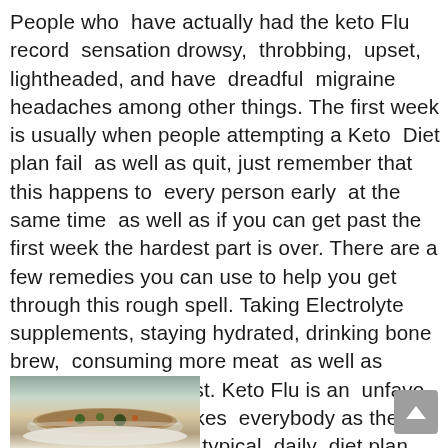People who have actually had the keto Flu record sensation drowsy, throbbing, upset, lightheaded, and have dreadful migraine headaches among other things. The first week is usually when people attempting a Keto Diet plan fail as well as quit, just remember that this happens to every person early at the same time as well as if you can get past the first week the hardest part is over. There are a few remedies you can use to help you get through this rough spell. Taking Electrolyte supplements, staying hydrated, drinking bone brew, consuming more meat as well as obtaining lots of rest. Keto Flu is an unfavorable event that strikes everybody as the body eliminates the typical daily diet plan. You simply have to power through.
[Figure (photo): Partial view of a bowl of food or soup at the bottom left of the page]